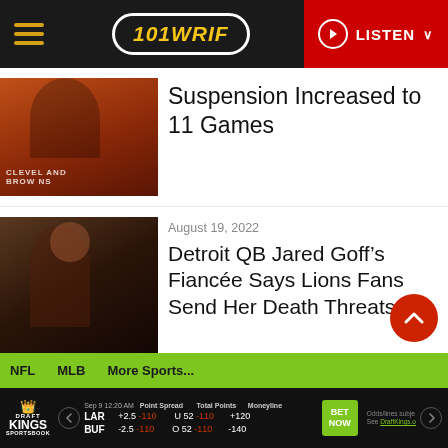101WRIF | LISTEN
[Figure (photo): Person wearing orange Cleveland Browns hoodie]
Suspension Increased to 11 Games
[Figure (photo): Woman being interviewed at an event]
August 19, 2022
Detroit QB Jared Goff’s Fiancée Says Lions Fans Send Her Death Threats
NFL   MLB   More Sports...
|  | Point Spread | Total Points | Moneyline |
| --- | --- | --- | --- |
| LAR | +2.5 -110 | U 52 -110 | +120 |
| BUF | -2.5 -110 | O 52 -110 | -140 |